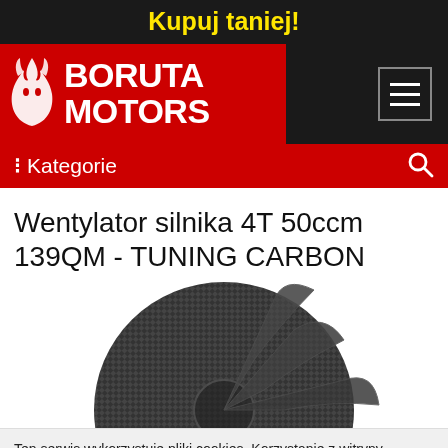Kupuj taniej!
[Figure (logo): Boruta Motors logo — red background, white devil mascot icon, bold white text BORUTA MOTORS]
Kategorie
Wentylator silnika 4T 50ccm 139QM - TUNING CARBON
[Figure (photo): Carbon fiber engine fan/cooling fan for 4T 50ccm 139QM engine, dark carbon weave texture with fins visible]
Ten serwis wykorzystuje pliki cookies. Korzystanie z witryny oznacza zgodę na ich zapis lub odczyt wg ustawień przeglądarki (Czyta